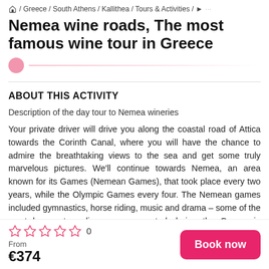🏠 / Greece / South Athens / Kallithea / Tours & Activities / ▶
Nemea wine roads, The most famous wine tour in Greece
ABOUT THIS ACTIVITY
Description of the day tour to Nemea wineries
Your private driver will drive you along the coastal road of Attica towards the Corinth Canal, where you will have the chance to admire the breathtaking views to the sea and get some truly marvelous pictures. We'll continue towards Nemea, an area known for its Games (Nemean Games), that took place every two years, while the Olympic Games every four. The Nemean games included gymnastics, horse riding, music and drama – some of the most known tragedies were presented during the Games in Nemea. The
☆☆☆☆☆ 0
From
€374
Book now